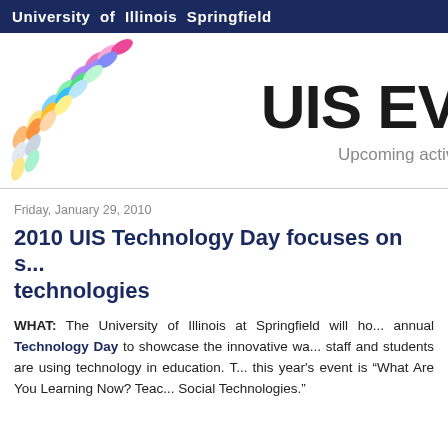University of Illinois Springfield
[Figure (illustration): UIS Events banner with colorful decorative leaf/petal pattern on left side and large text 'UIS EV' (cropped) with subtitle 'Upcoming activi' (cropped)]
Friday, January 29, 2010
2010 UIS Technology Day focuses on s... technologies
WHAT: The University of Illinois at Springfield will ho... annual Technology Day to showcase the innovative wa... staff and students are using technology in education. T... this year's event is “What Are You Learning Now? Teac... Social Technologies.”